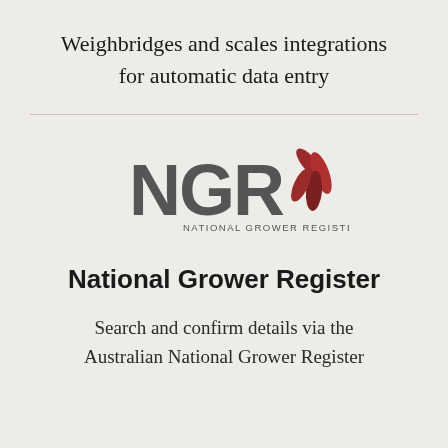Weighbridges and scales integrations for automatic data entry
[Figure (logo): NGR National Grower Register logo — bold grey letters 'NGR' with red leaf/grain graphic to the right, and 'NATIONAL GROWER REGISTER' in small caps below]
National Grower Register
Search and confirm details via the Australian National Grower Register